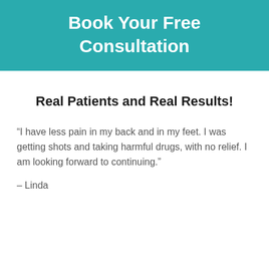Book Your Free Consultation
Real Patients and Real Results!
“I have less pain in my back and in my feet. I was getting shots and taking harmful drugs, with no relief. I am looking forward to continuing.”
– Linda